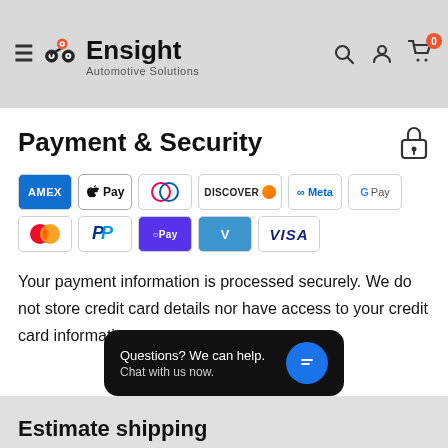Ensight Automotive Solutions — Navigation header with search, account, and cart icons
Payment & Security
[Figure (infographic): Payment method badges: American Express, Apple Pay, Diners Club, Discover, Meta Pay, Google Pay, Mastercard, PayPal, Shop Pay, Venmo, Visa]
Your payment information is processed securely. We do not store credit card details nor have access to your credit card information.
[Figure (screenshot): Chat widget popup: 'Questions? We can help. Chat with us now.' with blue chat button]
Estimate shipping